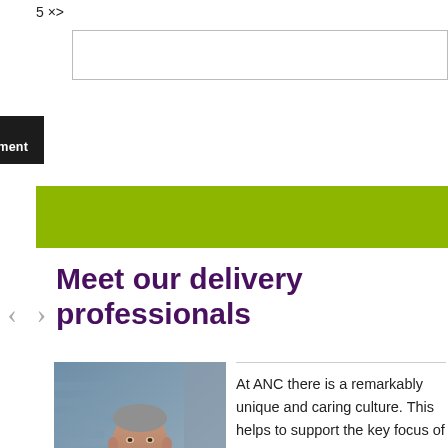[text input field]
Post Comment
[Figure (other): Olive/yellow-green horizontal banner strip]
Meet our delivery professionals
[Figure (photo): Portrait photo of a middle-aged man smiling, wearing a white shirt, with a blurred indoor background]
At ANC there is a remarkably unique and caring culture. This helps to support the key focus of